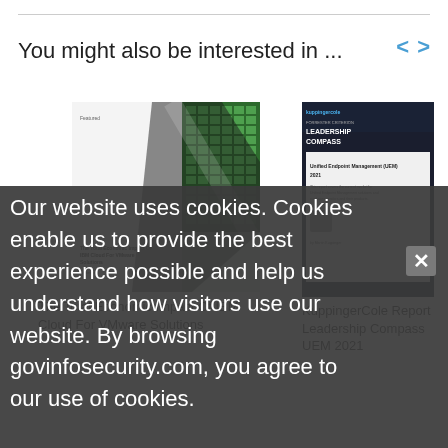You might also be interested in ...
[Figure (illustration): Thumbnail image for 'The Total Economic Impact Of IBM Cloud For VMware Solutions' — green grid pattern with diagonal stripe]
The Total Economic Impact Of IBM Cloud For VMware Solutions
[Figure (illustration): Thumbnail image for 'KuppingerCole Report Leadership Compass UEM 2021' — dark blue report cover with KuppingerCole branding]
KuppingerCole Report Leadership Compass UEM 2021
Our website uses cookies. Cookies enable us to provide the best experience possible and help us understand how visitors use our website. By browsing govinfosecurity.com, you agree to our use of cookies.